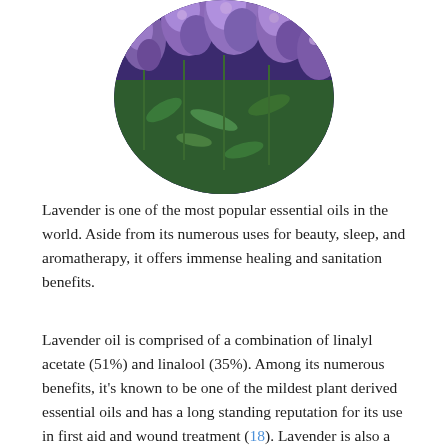[Figure (photo): Circular cropped photograph of purple lavender flowers in bloom with green stems and leaves]
Lavender is one of the most popular essential oils in the world. Aside from its numerous uses for beauty, sleep, and aromatherapy, it offers immense healing and sanitation benefits.
Lavender oil is comprised of a combination of linalyl acetate (51%) and linalool (35%). Among its numerous benefits, it's known to be one of the mildest plant derived essential oils and has a long standing reputation for its use in first aid and wound treatment (18). Lavender is also a